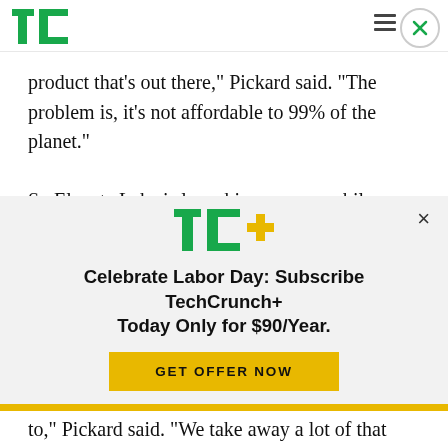[Figure (logo): TechCrunch logo — green TC icon in top-left navigation bar]
product that’s out there,” Pickard said. “The problem is, it’s not affordable to 99% of the planet.”

So Elevate Labs is launching a new mobile app
[Figure (logo): TechCrunch+ (TC+) subscription modal with green TC+ logo, headline 'Celebrate Labor Day: Subscribe TechCrunch+ Today Only for $90/Year.' and yellow GET OFFER NOW button]
to,” Pickard said. “We take away a lot of that indecision and present you with a path that is unique to you … People live all sorts of different lives: Some people care about stress, some people